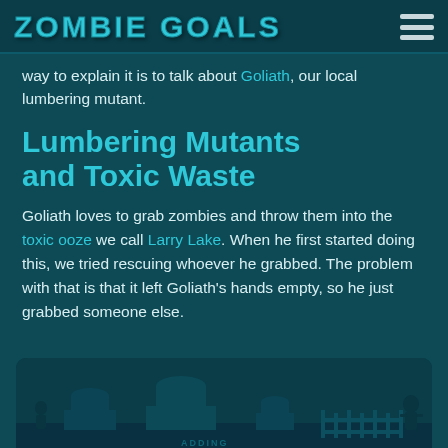Zombie Goals
way to explain it is to talk about Goliath, our local lumbering mutant.
Lumbering Mutants and Toxic Waste
Goliath loves to grab zombies and throw them into the toxic ooze we call Larry Lake. When he first started doing this, we tried rescuing whoever he grabbed. The problem with that is that it left Goliath's hands empty, so he just grabbed someone else.
[Figure (illustration): A dark teal-toned graveyard scene illustration showing gravestones and zombie silhouettes at the bottom of the page]